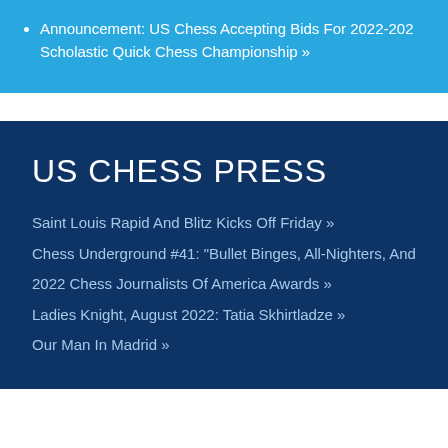Announcement: US Chess Accepting Bids For 2022-2023 Scholastic Quick Chess Championship »
US CHESS PRESS
Saint Louis Rapid And Blitz Kicks Off Friday »
Chess Underground #41: "Bullet Binges, All-Nighters, And...
2022 Chess Journalists Of America Awards »
Ladies Knight, August 2022: Tatia Skhirtladze »
Our Man In Madrid »